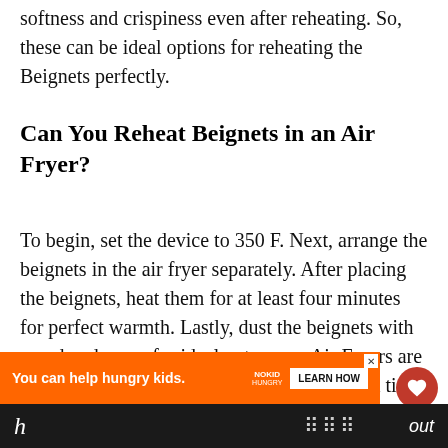softness and crispiness even after reheating. So, these can be ideal options for reheating the Beignets perfectly.
Can You Reheat Beignets in an Air Fryer?
To begin, set the device to 350 F. Next, arrange the beignets in the air fryer separately. After placing the beignets, heat them for at least four minutes for perfect warmth. Lastly, dust the beignets with powdered sugar for ideal outcomes. Air Fryers are suitable and easy devices that do not demand time the food perfectly.
[Figure (other): UI overlay elements: heart (favorite) button, share button, and 'What's Next' card showing 'How to Reheat Beef...']
[Figure (other): Advertisement banner: orange background with 'You can help hungry kids.' text, No Kid Hungry logo, and LEARN HOW button]
h ... out